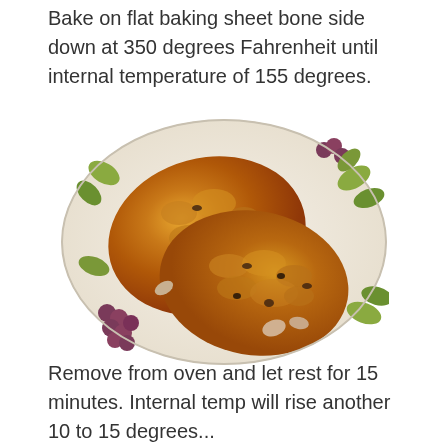Bake on flat baking sheet bone side down at 350 degrees Fahrenheit until internal temperature of 155 degrees.
[Figure (photo): Baked chicken pieces with a golden-brown herb crust on a decorative white plate with grape and leaf motifs.]
Remove from oven and let rest for 15 minutes. Internal temp will rise another 10 to 15 degrees...